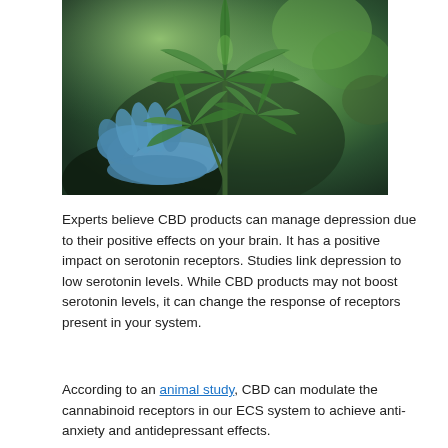[Figure (photo): A gloved hand holding a cannabis plant with green leaves against a blurred outdoor background]
Experts believe CBD products can manage depression due to their positive effects on your brain. It has a positive impact on serotonin receptors. Studies link depression to low serotonin levels. While CBD products may not boost serotonin levels, it can change the response of receptors present in your system.
According to an animal study, CBD can modulate the cannabinoid receptors in our ECS system to achieve anti-anxiety and antidepressant effects.